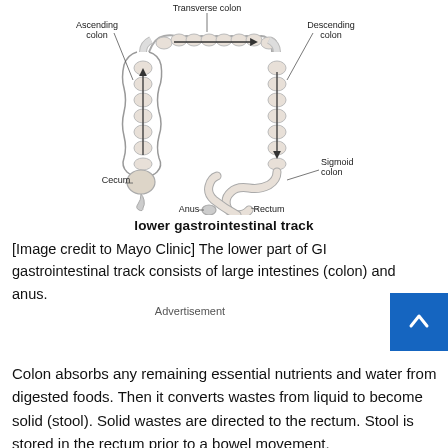[Figure (illustration): Anatomical diagram of the lower gastrointestinal tract showing labeled parts: Transverse colon (top), Ascending colon (left), Descending colon (right), Cecum (lower left), Sigmoid colon (lower right), Rectum (bottom center), and Anus (bottom). Arrows indicate the direction of movement through the colon.]
lower gastrointestinal track
[Image credit to Mayo Clinic] The lower part of GI gastrointestinal track consists of large intestines (colon) and anus.
Advertisement
Colon absorbs any remaining essential nutrients and water from digested foods. Then it converts wastes from liquid to become solid (stool). Solid wastes are directed to the rectum. Stool is stored in the rectum prior to a bowel movement.